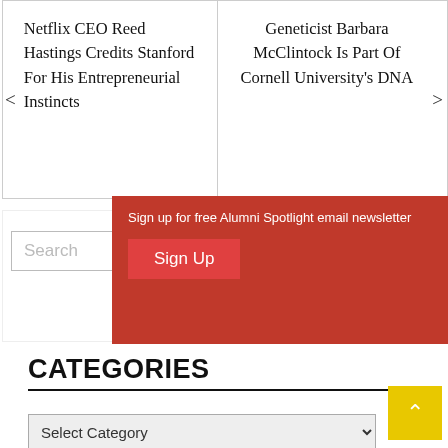Netflix CEO Reed Hastings Credits Stanford For His Entrepreneurial Instincts
Geneticist Barbara McClintock Is Part Of Cornell University’s DNA
Sign up for free Alumni Spotlight email newsletter
Sign Up
Search
Search
CATEGORIES
Select Category